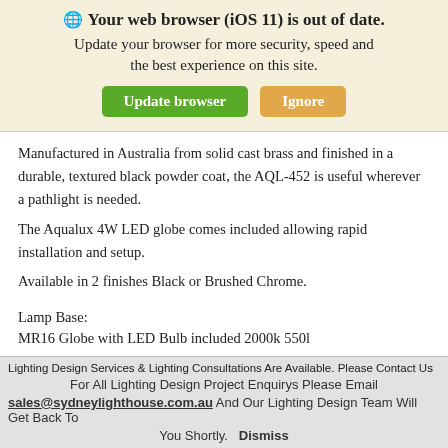🌐 Your web browser (iOS 11) is out of date. Update your browser for more security, speed and the best experience on this site. [Update browser] [Ignore]
Manufactured in Australia from solid cast brass and finished in a durable, textured black powder coat, the AQL-452 is useful wherever a pathlight is needed.
The Aqualux 4W LED globe comes included allowing rapid installation and setup.
Available in 2 finishes Black or Brushed Chrome.
Lamp Base:
MR16 Globe with LED Bulb included 2000k 550l (cut off)
Lighting Design Services & Lighting Consultations Are Available. Please Contact Us
For All Lighting Design Project Enquirys Please Email
sales@sydneylighthouse.com.au And Our Lighting Design Team Will Get Back To You Shortly. Dismiss